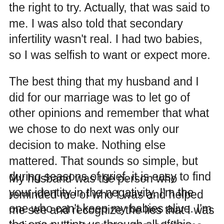the right to try. Actually, that was said to me. I was also told that secondary infertility wasn't real. I had two babies, so I was selfish to want or expect more.
The best thing that my husband and I did for our marriage was to let go of other opinions and remember that what we chose to do next was only our decision to make. Nothing else mattered. That sounds so simple, but during seasons of grief, it is easy to find your identity in the negativity. I'm the one who can't keep my babies alive. I'm the one putting us through all of this hurt. Maybe I am selfish for trying again.
My husband was the person who reminded me of who I was and helped me see and recognize the lies that I was believing. He loved me, prayed for me, and helped me through the pain, depression, and anxiety that comes with multiple